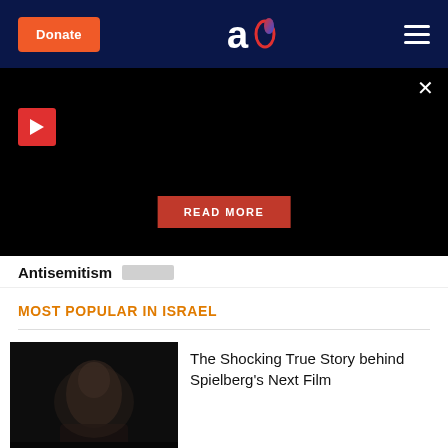Donate | Aish Logo | Navigation Menu
[Figure (screenshot): Black video/advertisement area with red play button, close X button, and red READ MORE button]
Antisemitism
MOST POPULAR IN ISRAEL
[Figure (photo): Dark moody photo of a blurry figure for article thumbnail]
The Shocking True Story behind Spielberg's Next Film